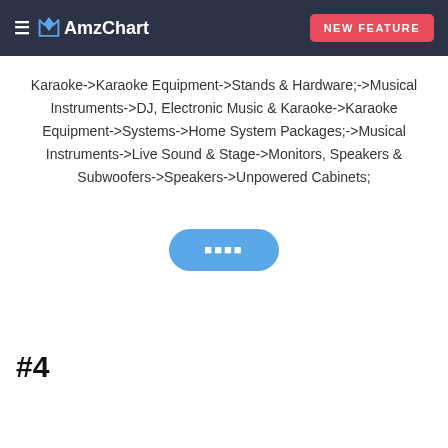AmzChart | NEW FEATURE
Karaoke->Karaoke Equipment->Stands & Hardware;->Musical Instruments->DJ, Electronic Music & Karaoke->Karaoke Equipment->Systems->Home System Packages;->Musical Instruments->Live Sound & Stage->Monitors, Speakers & Subwoofers->Speakers->Unpowered Cabinets;
■■■■
#4